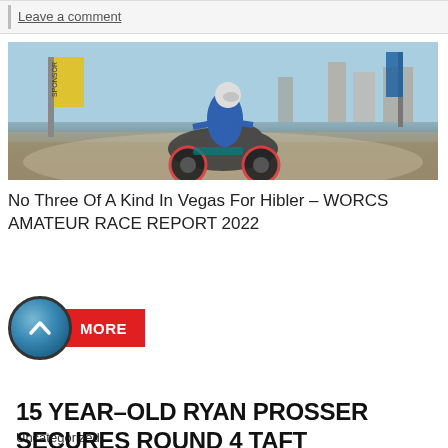Leave a comment
[Figure (photo): ATV/quad bike racer mid-air during a race event, wearing blue gear and white helmet, with banners and city buildings in the background]
No Three Of A Kind In Vegas For Hibler – WORCS AMATEUR RACE REPORT 2022
[Figure (other): Blue circular button with upward chevron icon overlapping a red 'MORE' button]
Uncategorized
15 YEAR-OLD RYAN PROSSER SECURES ROUND 4 TAFT